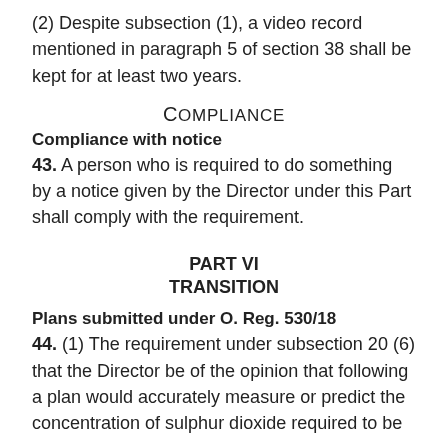(2) Despite subsection (1), a video record mentioned in paragraph 5 of section 38 shall be kept for at least two years.
Compliance
Compliance with notice
43. A person who is required to do something by a notice given by the Director under this Part shall comply with the requirement.
PART VI
TRANSITION
Plans submitted under O. Reg. 530/18
44. (1) The requirement under subsection 20 (6) that the Director be of the opinion that following a plan would accurately measure or predict the concentration of sulphur dioxide required to be